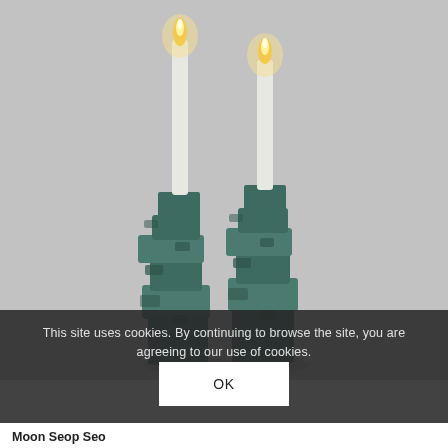[Figure (photo): Two taper candles lit, held in sculptural stacked dark teal/green marble cube candleholders against a light gray background]
This site uses cookies. By continuing to browse the site, you are agreeing to our use of cookies.
OK
Moon Seop Seo